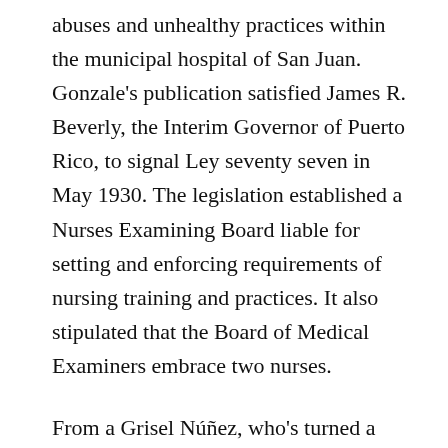abuses and unhealthy practices within the municipal hospital of San Juan. Gonzale's publication satisfied James R. Beverly, the Interim Governor of Puerto Rico, to signal Ley seventy seven in May 1930. The legislation established a Nurses Examining Board liable for setting and enforcing requirements of nursing training and practices. It also stipulated that the Board of Medical Examiners embrace two nurses.
From a Grisel Núñez, who's turned a household recipe for mouthwatering pasteles (do your self a favor and order them ASAP!) right into a successful business to Yarimar Cosme, an artist that is making stunning wearable artwork out of clay. Latin singles are thought-about to be, on the entire, an attractive race of women, and given their Caribbean heritage, it is not shocking that most have a good tan and braids of black hair. Many women declare to